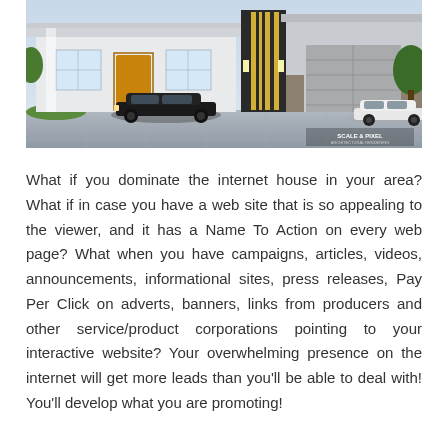[Figure (photo): Architectural rendering of a modern house exterior with a black car parked in the driveway, featuring a contemporary facade with yellow accents and a garage on the right side. A watermark reading 'SCALE & PIXEL' is visible in the bottom-right corner.]
What if you dominate the internet house in your area? What if in case you have a web site that is so appealing to the viewer, and it has a Name To Action on every web page? What when you have campaigns, articles, videos, announcements, informational sites, press releases, Pay Per Click on adverts, banners, links from producers and other service/product corporations pointing to your interactive website? Your overwhelming presence on the internet will get more leads than you'll be able to deal with! You'll develop what you are promoting!